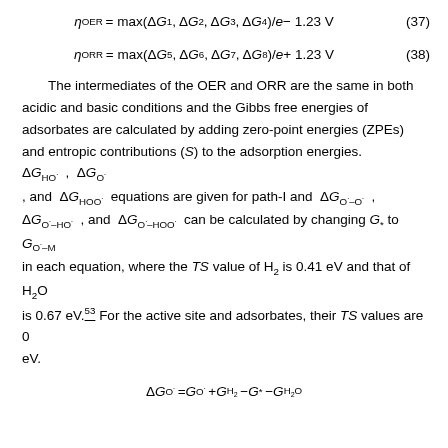The intermediates of the OER and ORR are the same in both acidic and basic conditions and the Gibbs free energies of adsorbates are calculated by adding zero-point energies (ZPEs) and entropic contributions (S) to the adsorption energies. ΔG_HO*, ΔG_O*, , and ΔG_HOO* equations are given for path-I and ΔG_O*-O*, ΔG_O*-HO*, and ΔG_O*-HOO* can be calculated by changing G* to G_O*-M in each equation, where the TS value of H₂ is 0.41 eV and that of H₂O is 0.67 eV.⁵³ For the active site and adsorbates, their TS values are 0 eV.